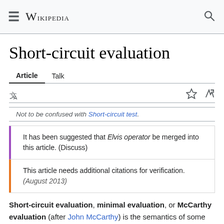Wikipedia
Short-circuit evaluation
Article   Talk
Not to be confused with Short-circuit test.
It has been suggested that Elvis operator be merged into this article. (Discuss)
This article needs additional citations for verification. (August 2013)
Short-circuit evaluation, minimal evaluation, or McCarthy evaluation (after John McCarthy) is the semantics of some Boolean operators in some programming languages in which the second argument is